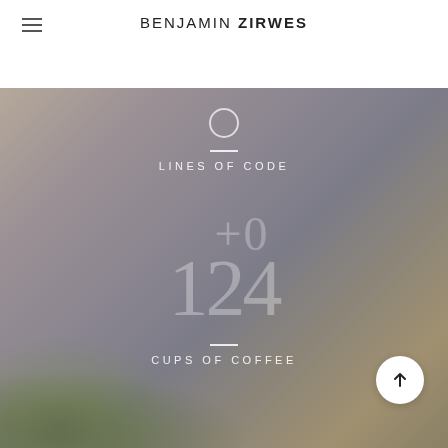BENJAMIN ZIRWES
LINES OF CODE
[Figure (infographic): Large semi-transparent numbers '150' overlaid on blurred nature background, representing cups of coffee statistic]
CUPS OF COFFEE